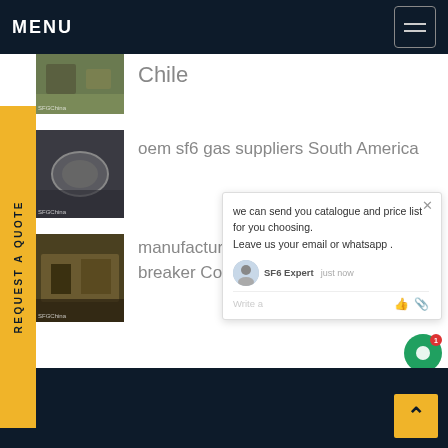MENU
Chile
oem sf6 gas suppliers South America
manufacture sf6 generator circuit breaker Colombia
we can send you catalogue and price list for you choosing. Leave us your email or whatsapp . SF6 Expert  just now  Write a
REQUEST A QUOTE